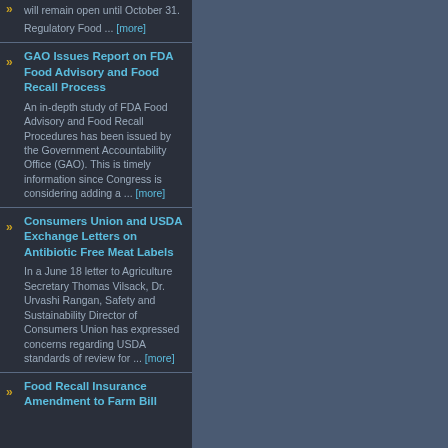will remain open until October 31. Regulatory Food ... [more]
GAO Issues Report on FDA Food Advisory and Food Recall Process
An in-depth study of FDA Food Advisory and Food Recall Procedures has been issued by the Government Accountability Office (GAO). This is timely information since Congress is considering adding a ... [more]
Consumers Union and USDA Exchange Letters on Antibiotic Free Meat Labels
In a June 18 letter to Agriculture Secretary Thomas Vilsack, Dr. Urvashi Rangan, Safety and Sustainability Director of Consumers Union has expressed concerns regarding USDA standards of review for ... [more]
Food Recall Insurance Amendment to Farm Bill